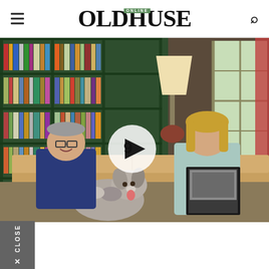OLD HOUSE ONLINE
[Figure (photo): A couple sitting on a couch in a room with dark green bookshelves filled with books. A dog (Australian Shepherd) sits in front. A woman in light blue reads a book/magazine. A floor lamp is visible in the background. A play button overlay with number 9 is shown on the image.]
CLOSE ✕